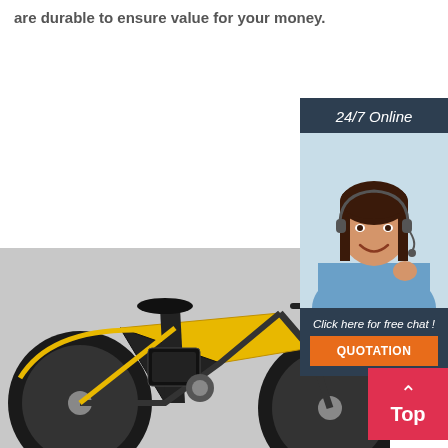are durable to ensure value for your money.
[Figure (photo): Customer service representative with headset smiling, with '24/7 Online' header, 'Click here for free chat!' text, and orange QUOTATION button on dark blue sidebar]
[Figure (photo): Close-up photo of a yellow and black electric bicycle showing the frame, wheels, and battery pack]
Top